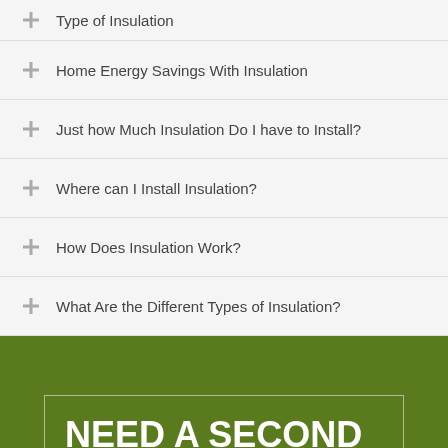Type of Insulation
Home Energy Savings With Insulation
Just how Much Insulation Do I have to Install?
Where can I Install Insulation?
How Does Insulation Work?
What Are the Different Types of Insulation?
NEED A SECOND OPINION?  (866)